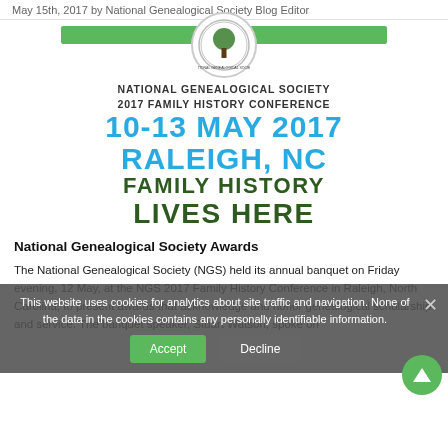May 15th, 2017 by National Genealogical Society Blog Editor
[Figure (illustration): National Genealogical Society 2017 Family History Conference promotional image. Green bar at top, NGS circular logo in center, text reads: NATIONAL GENEALOGICAL SOCIETY 2017 FAMILY HISTORY CONFERENCE, 10-13 MAY 2017, RALEIGH, NC, FAMILY HISTORY LIVES HERE]
National Genealogical Society Awards
The National Genealogical Society (NGS) held its annual banquet on Friday evening, 12 May, at the NGS 2017 Family History Conference in Raleigh, North Carolina, to present awards that acknowledge and honor genealogical scholarship and service.  The banquet speaker, Stuart Watson, spoke on
This website uses cookies for analytics about site traffic and navigation. None of the data in the cookies contains any personally identifiable information.